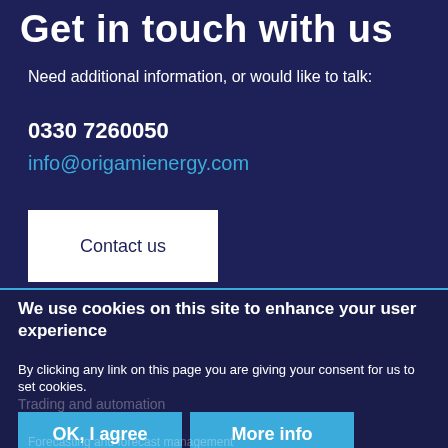Get in touch with us
Need additional information, or would like to talk:
0330 7260050
info@origamienergy.com
Contact us
We use cookies on this site to enhance your user experience
By clicking any link on this page you are giving your consent for us to set cookies.
Trading and automation
Battery optimisation
OK, I agree
More info
Forecasting and forecast management